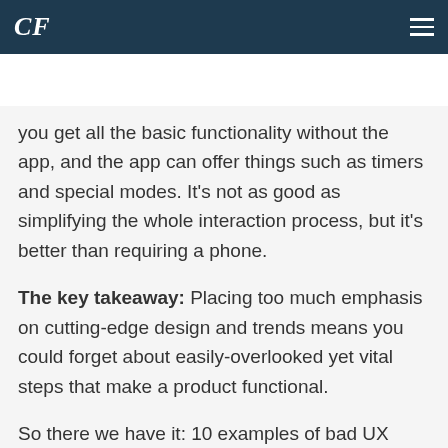CF (logo) | hamburger menu
CF BLOG | See our blog categories
you get all the basic functionality without the app, and the app can offer things such as timers and special modes. It’s not as good as simplifying the whole interaction process, but it’s better than requiring a phone.
The key takeaway: Placing too much emphasis on cutting-edge design and trends means you could forget about easily-overlooked yet vital steps that make a product functional.
So there we have it: 10 examples of bad UX design from connected devices. If you’re a brand